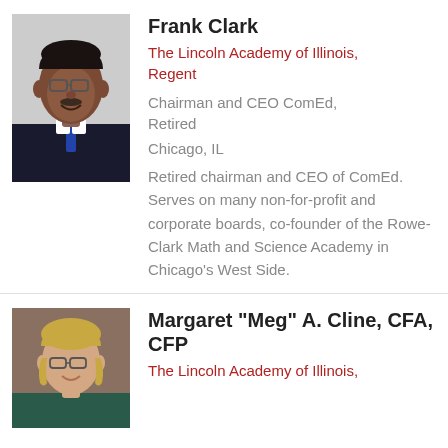[Figure (photo): Headshot photo of Frank Clark, an older African American man wearing glasses and a suit with a blue tie, smiling]
Frank Clark
The Lincoln Academy of Illinois, Regent
Chairman and CEO ComEd, Retired
Chicago, IL
Retired chairman and CEO of ComEd. Serves on many non-for-profit and corporate boards, co-founder of the Rowe-Clark Math and Science Academy in Chicago's West Side.
[Figure (photo): Headshot photo of Margaret 'Meg' A. Cline, a woman with blonde hair and glasses, smiling]
Margaret "Meg" A. Cline, CFA, CFP
The Lincoln Academy of Illinois,